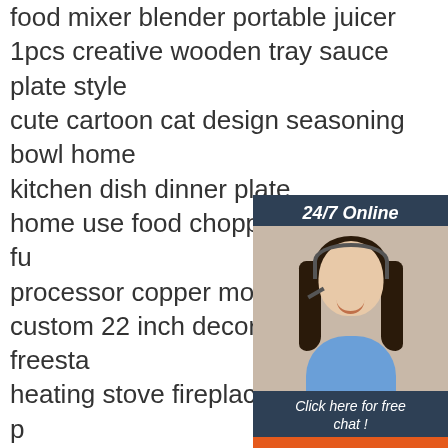food mixer blender portable juicer
1pcs creative wooden tray sauce plate style
cute cartoon cat design seasoning bowl home kitchen dish dinner plate
home use food chopper multiple fu processor copper motor
custom 22 inch decor flame freesta heating stove fireplace electric 3d p
2021 high speed smoothie portable blender juicer portable blender coff
factory hot selling flatware certified melamine bamboo tableware dinne
professional multifonction stainless steel
convenient durable mini meat grinder blender
bset selling plastic 10 1 salad maker spinner
food slicer potato radish cutter processor
stainless steel fancy towel plate oval serving
[Figure (infographic): 24/7 Online chat widget with female customer service agent wearing headset, blue button labeled QUOTATION, text 'Click here for free chat!']
[Figure (logo): Orange TOP badge/logo with dotted circle design in bottom right corner]